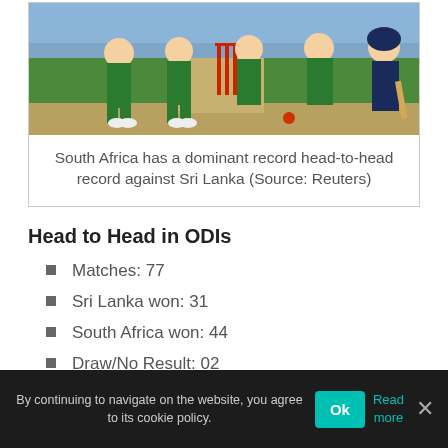[Figure (photo): Cricket players in green uniforms (South Africa team) on a cricket field with red stumps visible, and a batsman in blue on the right side. Crowd in background.]
South Africa has a dominant record head-to-head record against Sri Lanka (Source: Reuters)
Head to Head in ODIs
Matches: 77
Sri Lanka won: 31
South Africa won: 44
Draw/No Result: 02
By continuing to navigate on the website, you agree to its cookie policy.